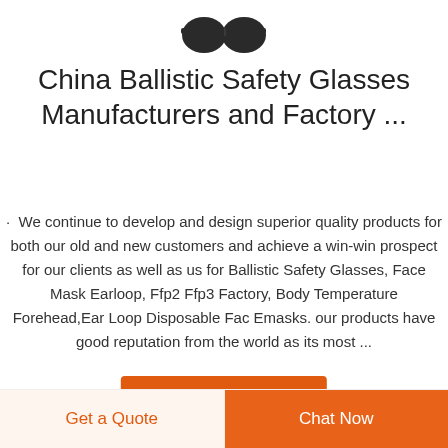[Figure (photo): Partial product image of ballistic safety glasses, cropped at the top of the page]
China Ballistic Safety Glasses Manufacturers and Factory ...
· We continue to develop and design superior quality products for both our old and new customers and achieve a win-win prospect for our clients as well as us for Ballistic Safety Glasses, Face Mask Earloop, Ffp2 Ffp3 Factory, Body Temperature Forehead,Ear Loop Disposable Fac Emasks. our products have good reputation from the world as its most ...
LEARN MORE
Get a Quote
Chat Now